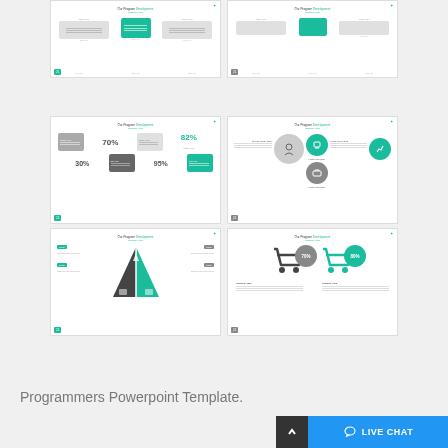[Figure (screenshot): Top row: two PowerPoint slide thumbnails showing speech-bubble/info-card style layouts with teal and gray elements, titled 'Our Program Development Graphic Here']
[Figure (screenshot): Middle row: two PowerPoint slide thumbnails — left shows percentage bubbles (70%, 82%, 30%, 95%) in teal/gray, right shows circles with icons for program development]
[Figure (screenshot): Bottom row: two PowerPoint slide thumbnails — left shows a teal/dark triangle diagram, right shows shopping cart icons with 70% and 80% statistics]
Programmers Powerpoint Template.